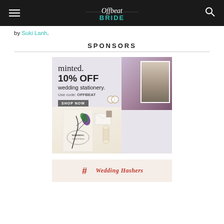Offbeat Bride
by Suki Lanh.
SPONSORS
[Figure (illustration): Minted advertisement: minted. 10% OFF wedding stationery. Use code: OFFBEAT. SHOP NOW button. Shows wedding invitation with peacock design, envelope, rings, and couple photo on purple marbled background.]
[Figure (illustration): Wedding Hashers advertisement with logo on floral background.]